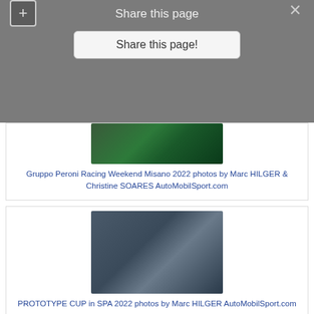Share this page
Share this page!
[Figure (photo): Racing car on track at Misano 2022]
Gruppo Peroni Racing Weekend Misano 2022 photos by Marc HILGER & Christine SOARES AutoMobilSport.com
[Figure (photo): Prototype race car at Spa 2022]
PROTOTYPE CUP in SPA 2022 photos by Marc HILGER AutoMobilSport.com
[Figure (photo): GT car at Oulton Park 2022]
BRITISH GT Championship OULTON 2022 photos copyright PSP Images AutoMobilsport.com
[Figure (photo): Blue and yellow racing car - Richardson Racing]
Richardson Racing joins forces with Comline Auto Parts for 2022
29.03.2022: Richardson Racing can today